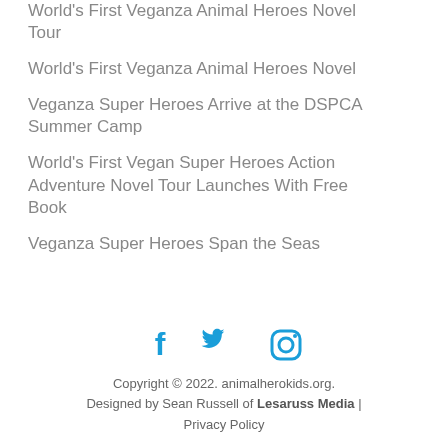World's First Veganza Animal Heroes Novel Tour
World's First Veganza Animal Heroes Novel
Veganza Super Heroes Arrive at the DSPCA Summer Camp
World's First Vegan Super Heroes Action Adventure Novel Tour Launches With Free Book
Veganza Super Heroes Span the Seas
[Figure (infographic): Social media icons: Facebook (f), Twitter (bird), Instagram (camera outline), all in blue]
Copyright © 2022. animalherokids.org. Designed by Sean Russell of Lesaruss Media | Privacy Policy